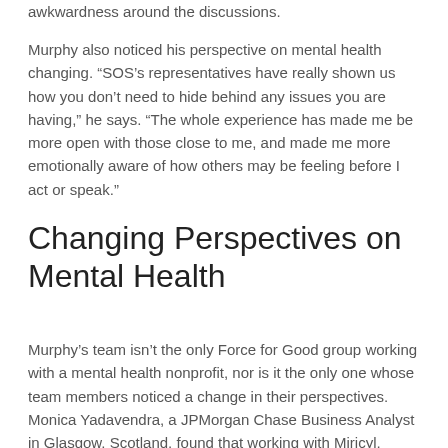awkwardness around the discussions.
Murphy also noticed his perspective on mental health changing. “SOS’s representatives have really shown us how you don’t need to hide behind any issues you are having,” he says. “The whole experience has made me be more open with those close to me, and made me more emotionally aware of how others may be feeling before I act or speak.”
Changing Perspectives on Mental Health
Murphy’s team isn’t the only Force for Good group working with a mental health nonprofit, nor is it the only one whose team members noticed a change in their perspectives. Monica Yadavendra, a JPMorgan Chase Business Analyst in Glasgow, Scotland, found that working with Miricyl, another mental health nonprofit, has